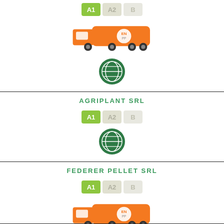[Figure (infographic): Partial top section showing A1/A2/B badges, orange tanker truck, and green globe icon]
AGRIPLANT SRL
[Figure (infographic): A1/A2/B quality badges with A1 highlighted in green, and green globe icon]
FEDERER PELLET SRL
[Figure (infographic): A1/A2/B quality badges with A1 highlighted in green, orange tanker truck, and green globe icon]